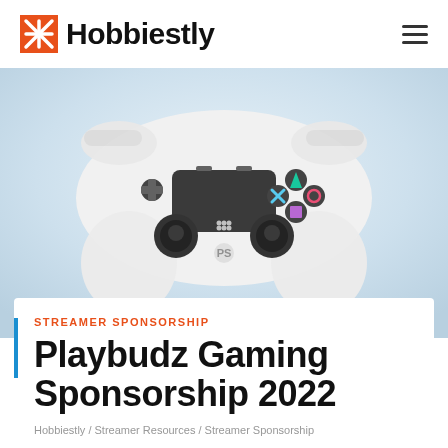Hobbiestly
[Figure (photo): White PlayStation DualShock 4 controller photographed from above against a light blue/white blurred background. The controller shows the touchpad, all buttons (triangle, circle, cross, square), d-pad, thumbsticks, and the PlayStation logo on the front.]
STREAMER SPONSORSHIP
Playbudz Gaming Sponsorship 2022
Hobbiestly / Streamer Resources / Streamer Sponsorship